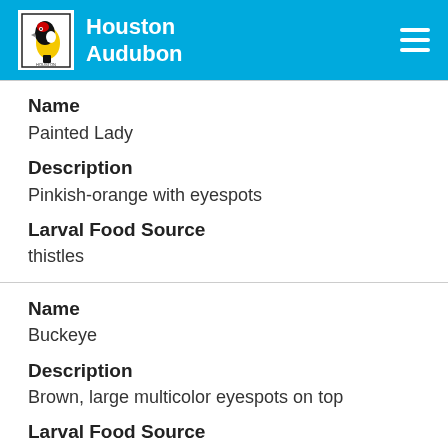Houston Audubon
Name
Painted Lady
Description
Pinkish-orange with eyespots
Larval Food Source
thistles
Name
Buckeye
Description
Brown, large multicolor eyespots on top
Larval Food Source
ruellia